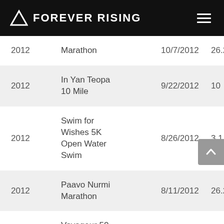Forever Rising
| Year | Race Name | Date | Distance | Time |
| --- | --- | --- | --- | --- |
| 2012 | Marathon | 10/7/2012 | 26.2 | 3:0… |
| 2012 | In Yan Teopa 10 Mile | 9/22/2012 | 10 | 1:0… |
| 2012 | Swim for Wishes 5K Open Water Swim | 8/26/2012 | 3.1 | 2:1… |
| 2012 | Paavo Nurmi Marathon | 8/11/2012 | 26.2 | 3:0… |
| 2012 | Voyageur 50 Mile | 7/28/2012 | 50 | 8:2… |